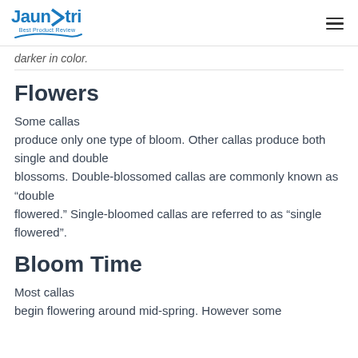Jaunatri Best Product Review
darker in color.
Flowers
Some callas produce only one type of bloom. Other callas produce both single and double blossoms. Double-blossomed callas are commonly known as “double flowered.” Single-bloomed callas are referred to as “single flowered”.
Bloom Time
Most callas begin flowering around mid-spring. However some